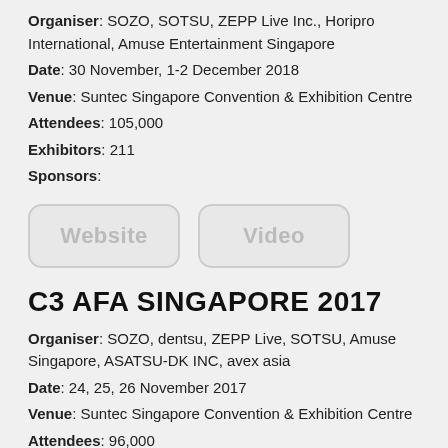Organiser: SOZO, SOTSU, ZEPP Live Inc., Horipro International, Amuse Entertainment Singapore
Date: 30 November, 1-2 December 2018
Venue: Suntec Singapore Convention & Exhibition Centre
Attendees: 105,000
Exhibitors: 211
Sponsors:
[Figure (other): Two rounded rectangle buttons labeled 'Website' and 'Video' in grey/white style]
C3 AFA SINGAPORE 2017
Organiser: SOZO, dentsu, ZEPP Live, SOTSU, Amuse Singapore, ASATSU-DK INC, avex asia
Date: 24, 25, 26 November 2017
Venue: Suntec Singapore Convention & Exhibition Centre
Attendees: 96,000
Exhibitors: 170
Sponsors: 8